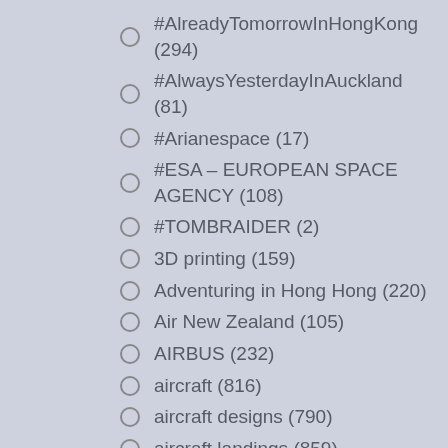#AlreadyTomorrowInHongKong (294)
#AlwaysYesterdayInAuckland (81)
#Arianespace (17)
#ESA – EUROPEAN SPACE AGENCY (108)
#TOMBRAIDER (2)
3D printing (159)
Adventuring in Hong Hong (220)
Air New Zealand (105)
AIRBUS (232)
aircraft (816)
aircraft designs (790)
aircraft landings (859)
androids (80)
Ani-Com and Games (40)
apps (184)
Architecture (1,422)